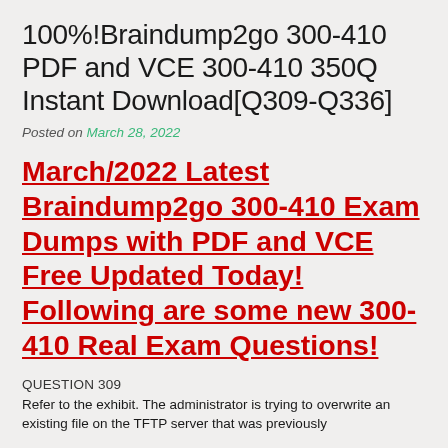100%!Braindump2go 300-410 PDF and VCE 300-410 350Q Instant Download[Q309-Q336]
Posted on March 28, 2022
March/2022 Latest Braindump2go 300-410 Exam Dumps with PDF and VCE Free Updated Today! Following are some new 300-410 Real Exam Questions!
QUESTION 309
Refer to the exhibit. The administrator is trying to overwrite an existing file on the TFTP server that was previously